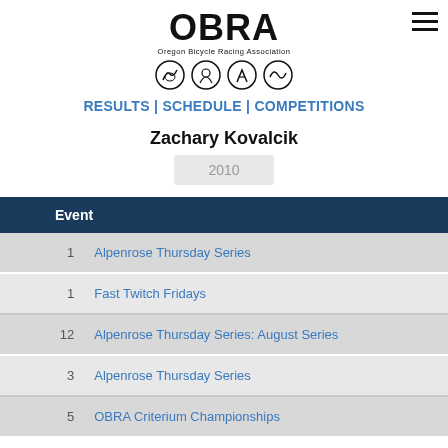OBRA — Oregon Bicycle Racing Association
RESULTS | SCHEDULE | COMPETITIONS
Zachary Kovalcik
2010
| Event |
| --- |
| 1 | Alpenrose Thursday Series |
| 1 | Fast Twitch Fridays |
| 12 | Alpenrose Thursday Series: August Series |
| 3 | Alpenrose Thursday Series |
| 5 | OBRA Criterium Championships |